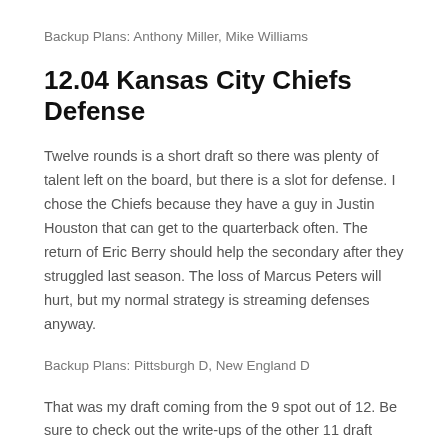Backup Plans: Anthony Miller, Mike Williams
12.04 Kansas City Chiefs Defense
Twelve rounds is a short draft so there was plenty of talent left on the board, but there is a slot for defense. I chose the Chiefs because they have a guy in Justin Houston that can get to the quarterback often. The return of Eric Berry should help the secondary after they struggled last season. The loss of Marcus Peters will hurt, but my normal strategy is streaming defenses anyway.
Backup Plans: Pittsburgh D, New England D
That was my draft coming from the 9 spot out of 12. Be sure to check out the write-ups of the other 11 draft slots